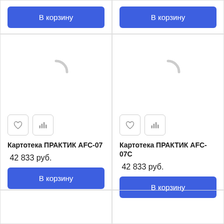[Figure (screenshot): В корзину button top-left]
[Figure (screenshot): В корзину button top-right]
[Figure (screenshot): Product card: Картотека ПРАКТИК AFC-07, loading spinner, heart and bar chart icons, price 42 833 руб., В корзину button]
[Figure (screenshot): Product card: Картотека ПРАКТИК AFC-07C, loading spinner, heart and bar chart icons, price 42 833 руб., В корзину button]
[Figure (screenshot): Partial empty card bottom-left]
[Figure (screenshot): Partial empty card bottom-right]